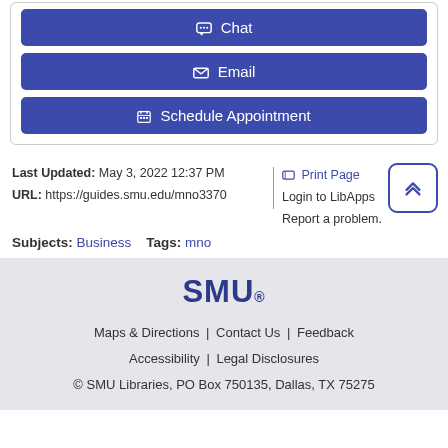Chat
Email
Schedule Appointment
Last Updated: May 3, 2022 12:37 PM
URL: https://guides.smu.edu/mno3370
Print Page
Login to LibApps
Report a problem.
Subjects: Business   Tags: mno
SMU
Maps & Directions | Contact Us | Feedback
Accessibility | Legal Disclosures
© SMU Libraries, PO Box 750135, Dallas, TX 75275